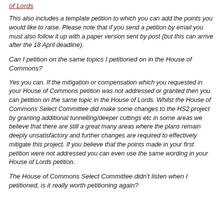of Lords
This also includes a template petition to which you can add the points you would like to raise.   Please note that if you send a petition by email you must also follow it up with a paper version sent by post (but this can arrive after the 18 April deadline).
Can I petition on the same topics I petitioned on in the House of Commons?
Yes you can.  If the mitigation or compensation which you requested in your House of Commons petition was not addressed or granted then you can petition on the same topic in the House of Lords.  Whilst the House of Commons Select Committee did make some changes to the HS2 project by granting additional tunnelling/deeper cuttings etc in some areas we believe that there are still a great many areas where the plans remain deeply unsatisfactory and further changes are required to effectively mitigate this project.   If you believe that the points made in your first petition were not addressed you can even use the same wording in your House of Lords petition.
The House of Commons Select Committee didn't listen when I petitioned, is it really worth petitioning again?